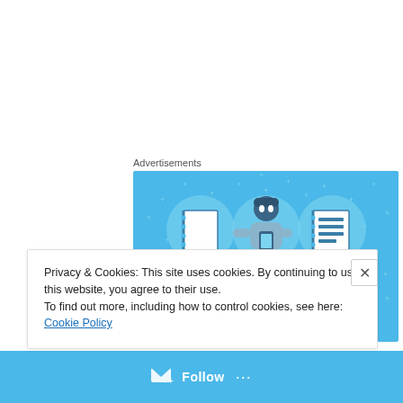Advertisements
[Figure (illustration): Day One journaling app advertisement. Light blue background with sparkle stars. Three circular icons showing a blank notebook, a person holding a phone, and a checklist notebook. Text reads 'DAY ONE' in spaced capital letters and 'The only journaling app you'll ever need.']
Privacy & Cookies: This site uses cookies. By continuing to use this website, you agree to their use.
To find out more, including how to control cookies, see here: Cookie Policy